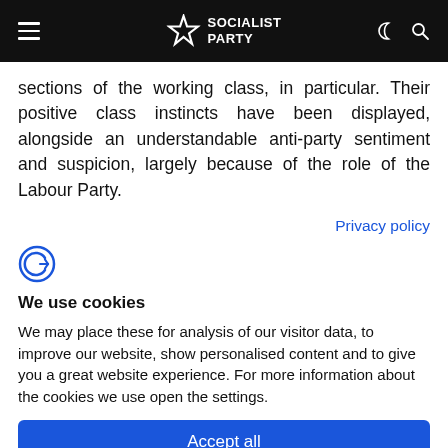Socialist Party
sections of the working class, in particular. Their positive class instincts have been displayed, alongside an understandable anti-party sentiment and suspicion, largely because of the role of the Labour Party.
Privacy policy
[Figure (logo): Cookiebot logo icon - stylized C with arrow]
We use cookies
We may place these for analysis of our visitor data, to improve our website, show personalised content and to give you a great website experience. For more information about the cookies we use open the settings.
Accept all
Deny
No, adjust